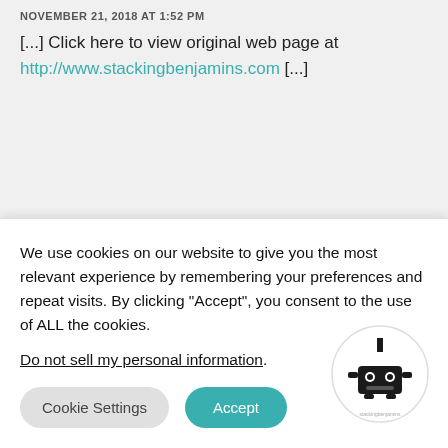NOVEMBER 21, 2018 AT 1:52 PM
[...] Click here to view original web page at http://www.stackingbenjamins.com [...]
Leave a Reply
Your email address will not be published. Required fields are marked *
We use cookies on our website to give you the most relevant experience by remembering your preferences and repeat visits. By clicking “Accept”, you consent to the use of ALL the cookies.
Do not sell my personal information.
[Figure (logo): Stacking Benjamins mascot logo — cartoon robot/mailbox character in a circular badge]